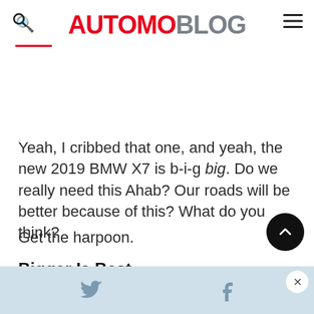AUTOMOBLOG
Yeah, I cribbed that one, and yeah, the new 2019 BMW X7 is b-i-g big. Do we really need this Ahab? Our roads will be better because of this? What do you think?
Get the harpoon.
Bigger Is Best